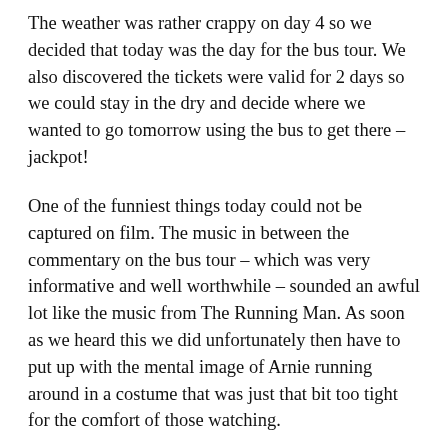The weather was rather crappy on day 4 so we decided that today was the day for the bus tour. We also discovered the tickets were valid for 2 days so we could stay in the dry and decide where we wanted to go tomorrow using the bus to get there – jackpot!
One of the funniest things today could not be captured on film. The music in between the commentary on the bus tour – which was very informative and well worthwhile – sounded an awful lot like the music from The Running Man. As soon as we heard this we did unfortunately then have to put up with the mental image of Arnie running around in a costume that was just that bit too tight for the comfort of those watching.
Please excuse the raindrops on the bus windows – not a lot I could do really, but not all photos were from the bus as you will see.